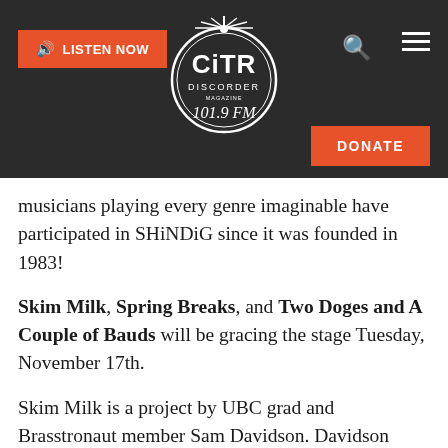[Figure (logo): CiTR Discorder 101.9 FM radio station logo — circular badge with white text and decorative rays on dark background]
musicians playing every genre imaginable have participated in SHiNDiG since it was founded in 1983!
Skim Milk, Spring Breaks, and Two Doges and A Couple of Bauds will be gracing the stage Tuesday, November 17th.
Skim Milk is a project by UBC grad and Brasstronaut member Sam Davidson. Davidson fuses various sounds and influences including electronic music and clarinet, and released his debut album in February. Since its distrib...